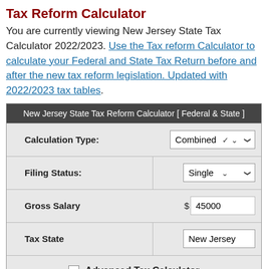Tax Reform Calculator
You are currently viewing New Jersey State Tax Calculator 2022/2023. Use the Tax reform Calculator to calculate your Federal and State Tax Return before and after the new tax reform legislation. Updated with 2022/2023 tax tables.
| New Jersey State Tax Reform Calculator [ Federal & State ] |
| --- |
| Calculation Type: | Combined |
| Filing Status: | Single |
| Gross Salary | $ 45000 |
| Tax State | New Jersey |
| Advanced Tax Calculator |  |